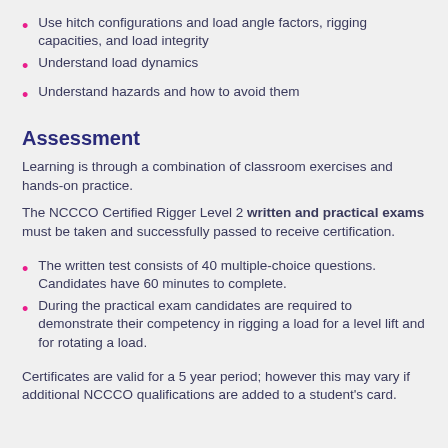Use hitch configurations and load angle factors, rigging capacities, and load integrity
Understand load dynamics
Understand hazards and how to avoid them
Assessment
Learning is through a combination of classroom exercises and hands-on practice.
The NCCCO Certified Rigger Level 2 written and practical exams must be taken and successfully passed to receive certification.
The written test consists of 40 multiple-choice questions. Candidates have 60 minutes to complete.
During the practical exam candidates are required to demonstrate their competency in rigging a load for a level lift and for rotating a load.
Certificates are valid for a 5 year period; however this may vary if additional NCCCO qualifications are added to a student's card.